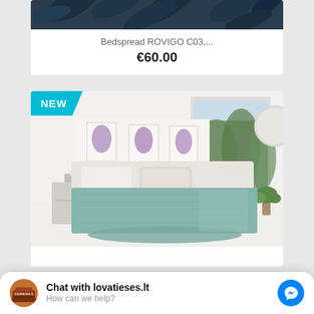[Figure (screenshot): Top product card showing a partial bedspread product image with dark leaf pattern, product name 'Bedspread ROVIGO C03,...' and price €60.00]
Bedspread ROVIGO C03,...
€60.00
[Figure (photo): Second product card with NEW badge, showing a bedroom scene with a teal/mint colored bedspread on a bed, white walls, large windows, purple flower artwork on wall]
NEW
Chat with lovatieses.lt
How can we help?